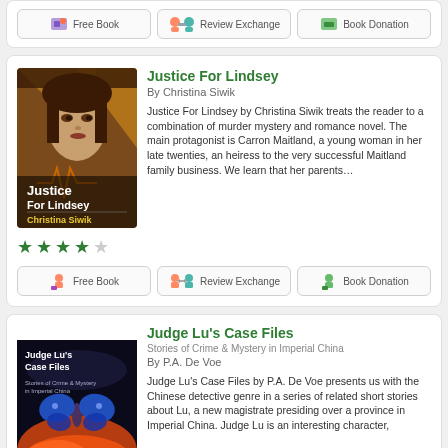[Figure (screenshot): Partial top card with Free Book, Review Exchange, Book Donation buttons]
[Figure (illustration): Justice For Lindsey book cover showing woman's face]
Justice For Lindsey
By Christina Siwik
Justice For Lindsey by Christina Siwik treats the reader to a combination of murder mystery and romance novel. The main protagonist is Carron Maitland, a young woman in her late twenties, an heiress to the very successful Maitland family business. We learn that her parents…
[Figure (other): 4 out of 5 star rating in green]
Free Book
Review Exchange
Book Donation
[Figure (illustration): Judge Lu's Case Files book cover with butterfly and fire]
Judge Lu's Case Files
Stories of Crime & Mystery in Imperial China
By P.A. De Voe
Judge Lu's Case Files by P.A. De Voe presents us with the Chinese detective genre in a series of related short stories about Lu, a new magistrate presiding over a province in Imperial China. Judge Lu is an interesting character,